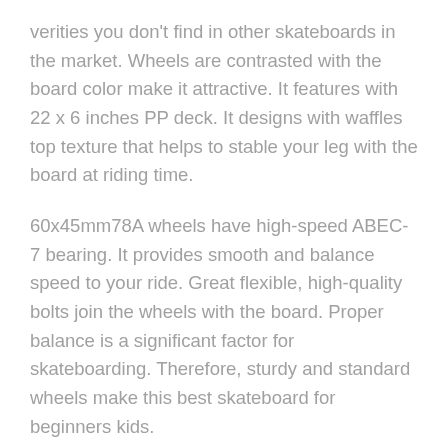verities you don't find in other skateboards in the market. Wheels are contrasted with the board color make it attractive. It features with 22 x 6 inches PP deck. It designs with waffles top texture that helps to stable your leg with the board at riding time.
60x45mm78A wheels have high-speed ABEC-7 bearing. It provides smooth and balance speed to your ride. Great flexible, high-quality bolts join the wheels with the board. Proper balance is a significant factor for skateboarding. Therefore, sturdy and standard wheels make this best skateboard for beginners kids.
In skateboarding, safety is more important than other features. So, before selecting a skateboard, you should check the safety feature of those products. The best